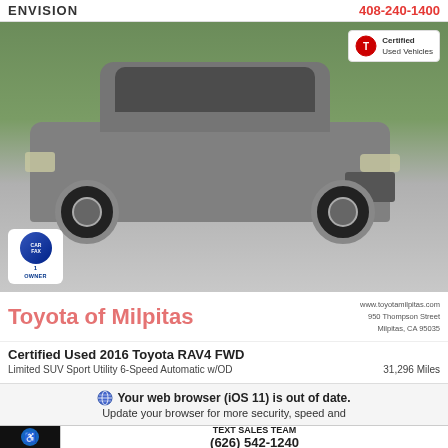ENVISION  408-240-1400
[Figure (photo): Gray 2016 Toyota RAV4 FWD SUV parked, three-quarter front view. Toyota Certified Used Vehicles badge top right. CARFAX 1-Owner badge bottom left.]
Toyota of Milpitas
www.toyotamilpitas.com  950 Thompson Street  Milpitas, CA 95035
Certified Used 2016 Toyota RAV4 FWD
Limited SUV Sport Utility 6-Speed Automatic w/OD  31,296 Miles
Your web browser (iOS 11) is out of date. Update your browser for more security, speed and
TEXT SALES TEAM  (626) 542-1240